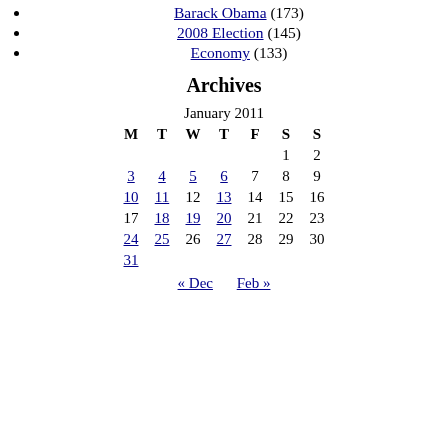Barack Obama (173)
2008 Election (145)
Economy (133)
Archives
| M | T | W | T | F | S | S |
| --- | --- | --- | --- | --- | --- | --- |
|  |  |  |  |  | 1 | 2 |
| 3 | 4 | 5 | 6 | 7 | 8 | 9 |
| 10 | 11 | 12 | 13 | 14 | 15 | 16 |
| 17 | 18 | 19 | 20 | 21 | 22 | 23 |
| 24 | 25 | 26 | 27 | 28 | 29 | 30 |
| 31 |  |  |  |  |  |  |
« Dec   Feb »